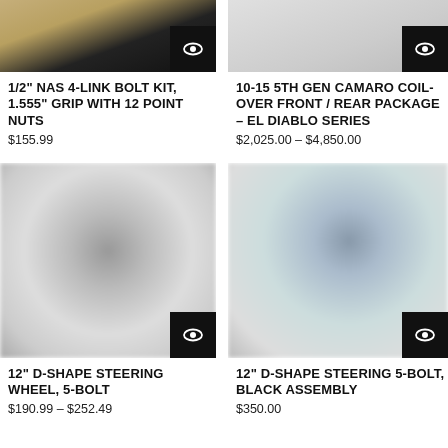[Figure (photo): Product image for 1/2 inch NAS 4-link bolt kit with beige/bronze hardware on dark background]
1/2" NAS 4-LINK BOLT KIT, 1.555" GRIP WITH 12 POINT NUTS
$155.99
[Figure (photo): Product image for 10-15 5th Gen Camaro coil-over front/rear package, gray background]
10-15 5TH GEN CAMARO COIL-OVER FRONT / REAR PACKAGE – EL DIABLO SERIES
$2,025.00 – $4,850.00
[Figure (photo): Blurred product image of 12 inch D-shape steering wheel 5-bolt, black]
12" D-SHAPE STEERING WHEEL, 5-BOLT
$190.99 – $252.49
[Figure (photo): Blurred product image of 12 inch D-shape steering wheel 5-bolt black assembly with hub]
12" D-SHAPE STEERING 5-BOLT, BLACK ASSEMBLY
$350.00